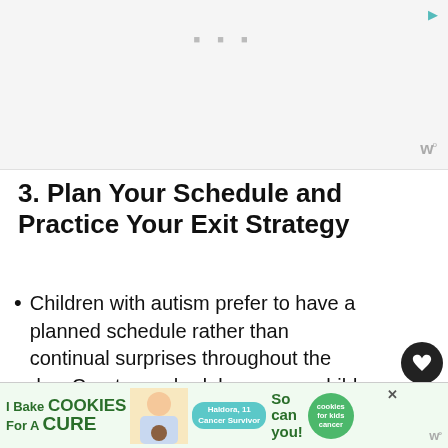[Figure (other): Advertisement banner at top of page with gray background, play icon, dots, and W logo]
3. Plan Your Schedule and Practice Your Exit Strategy
Children with autism prefer to have a planned schedule rather than continual surprises throughout the day. Create a schedule, so your child knows what to expect – this could be visuals, or a
[Figure (other): What's Next panel showing 18 Effective De-Escalation... article thumbnail]
[Figure (other): Bottom advertisement banner: I Bake COOKIES For A CURE - Haldora, 11 Cancer Survivor - So can you! - cookies for kids cancer logo]